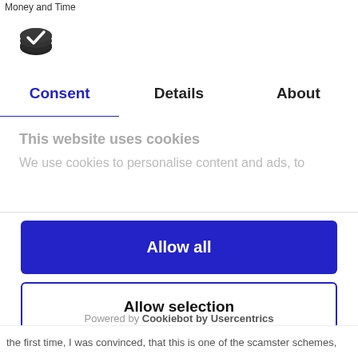Money and Time
[Figure (logo): Cookiebot logo - dark oval/coin shape with white checkmark]
Consent	Details	About
This website uses cookies
We use cookies to personalise content and ads, to
Allow all
Allow selection
Deny
Powered by Cookiebot by Usercentrics
the first time, I was convinced, that this is one of the scamster schemes,